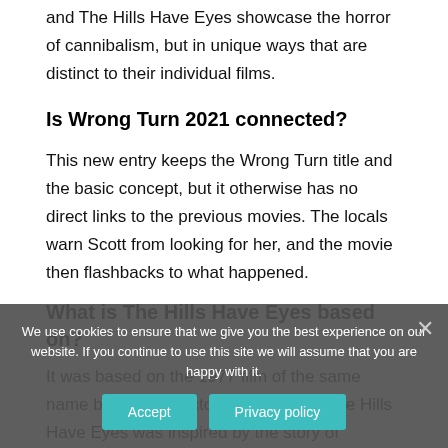and The Hills Have Eyes showcase the horror of cannibalism, but in unique ways that are distinct to their individual films.
Is Wrong Turn 2021 connected?
This new entry keeps the Wrong Turn title and the basic concept, but it otherwise has no direct links to the previous movies. The locals warn Scott from looking for her, and the movie then flashbacks to what happened.
What is The Hills Have Eyes based on?
It was based on the 1977 film of the same name by writer/director Wes Craven. The Hills Have Eyes was inspired by the story of Sawney Bean, the head of a wild Scottish clan who murdered and cannibalized numerous
We use cookies to ensure that we give you the best experience on our website. If you continue to use this site we will assume that you are happy with it.